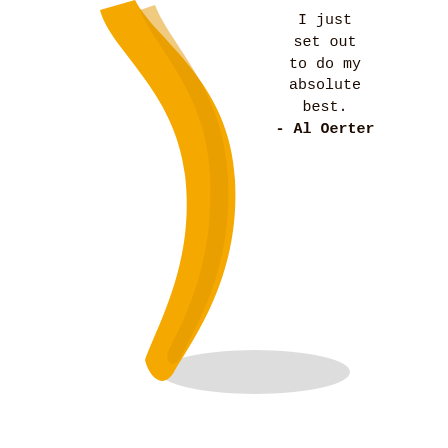[Figure (illustration): Golden/orange ribbon or curved blade shape on the left side of the image, resembling a figure skating blade or decorative ribbon, with a gray shadow ellipse beneath it.]
I just set out to do my absolute best. - Al Oerter
RaisingFigureSkaters.com